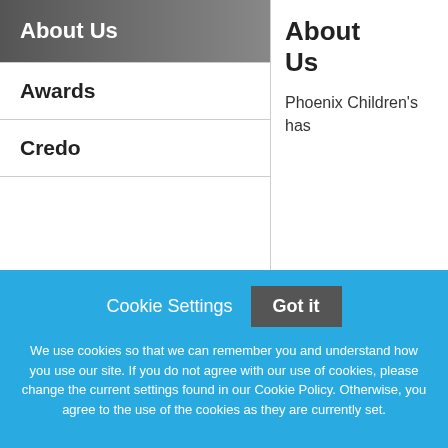About Us
Awards
Credo
About Us
Phoenix Children's has
Cookie Settings
Got it
We use cookies so that we can remember you and understand how you use our site. If you do not agree with our use of cookies, please change the current settings found in our Cookie Policy. Otherwise, you agree to the use of the cookies as they are currently set.